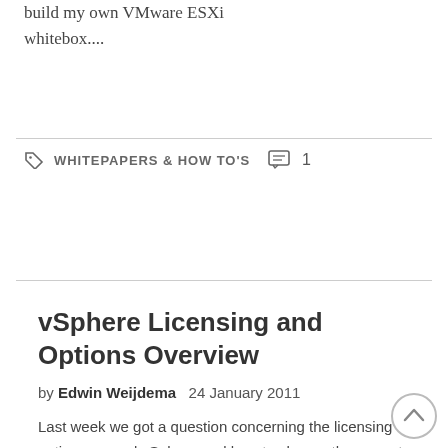build my own VMware ESXi whitebox....
WHITEPAPERS & HOW TO'S  1
vSphere Licensing and Options Overview
by Edwin Weijdema  24 January 2011
Last week we got a question concerning the licensing options around vSphere and how to choose the correct edition and options from all the flavors and options offered by VMware. So while...